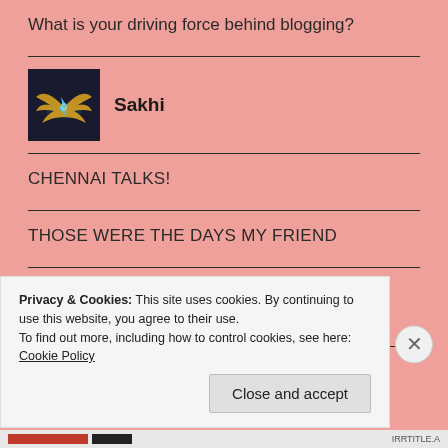What is your driving force behind blogging?
Sakhi
CHENNAI TALKS!
THOSE WERE THE DAYS MY FRIEND
SIRI, BUY GROCERIES VIA BIGBASKET/CORTANA, PAY VIA PAYTM
MERCI BEAUCOUP MON AMIE!
Privacy & Cookies: This site uses cookies. By continuing to use this website, you agree to their use.
To find out more, including how to control cookies, see here: Cookie Policy
Close and accept